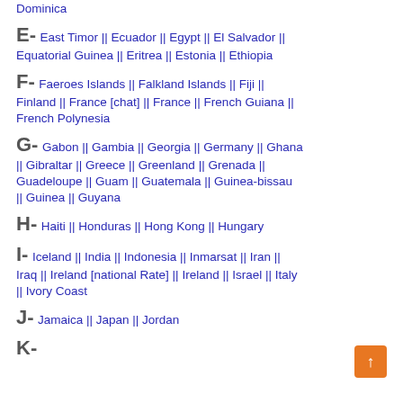Dominica
E- East Timor || Ecuador || Egypt || El Salvador || Equatorial Guinea || Eritrea || Estonia || Ethiopia
F- Faeroes Islands || Falkland Islands || Fiji || Finland || France [chat] || France || French Guiana || French Polynesia
G- Gabon || Gambia || Georgia || Germany || Ghana || Gibraltar || Greece || Greenland || Grenada || Guadeloupe || Guam || Guatemala || Guinea-bissau || Guinea || Guyana
H- Haiti || Honduras || Hong Kong || Hungary
I- Iceland || India || Indonesia || Inmarsat || Iran || Iraq || Ireland [national Rate] || Ireland || Israel || Italy || Ivory Coast
J- Jamaica || Japan || Jordan
K-